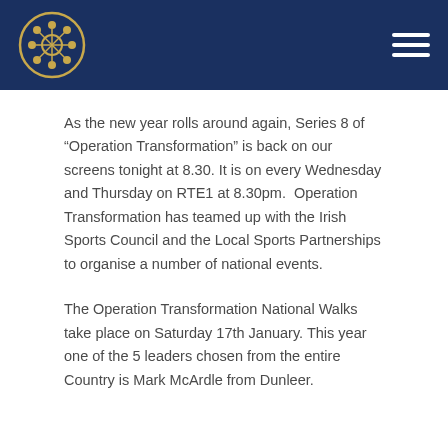As the new year rolls around again, Series 8 of “Operation Transformation” is back on our screens tonight at 8.30. It is on every Wednesday and Thursday on RTE1 at 8.30pm.  Operation Transformation has teamed up with the Irish Sports Council and the Local Sports Partnerships to organise a number of national events.
The Operation Transformation National Walks take place on Saturday 17th January. This year one of the 5 leaders chosen from the entire Country is Mark McArdle from Dunleer.